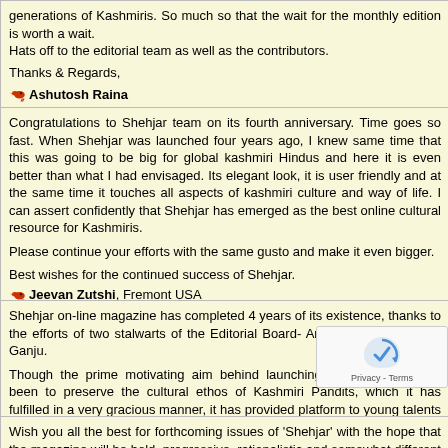generations of Kashmiris. So much so that the wait for the monthly edition is worth a wait.
Hats off to the editorial team as well as the contributors.
Thanks & Regards,
Ashutosh Raina
Congratulations to Shehjar team on its fourth anniversary. Time goes so fast. When Shehjar was launched four years ago, I knew same time that this was going to be big for global kashmiri Hindus and here it is even better than what I had envisaged. Its elegant look, it is user friendly and at the same time it touches all aspects of kashmiri culture and way of life. I can assert confidently that Shehjar has emerged as the best online cultural resource for Kashmiris.
Please continue your efforts with the same gusto and make it even bigger.
Best wishes for the continued success of Shehjar.
Jeevan Zutshi, Fremont USA
Shehjar on-line magazine has completed 4 years of its existence, thanks to the efforts of two stalwarts of the Editorial Board- Arun Kaul and Deepak Ganju.
Though the prime motivating aim behind launching this magazine has been to preserve the cultural ethos of Kashmiri Pandits, which it has fulfilled in a very gracious manner, it has provided platform to young talents in our community to showcase themselves, doing justice to themselves and also furthering the cause of our great heritage.
Gopinath Raina, Miami USA
Wish you all the best for forthcoming issues of 'Shehjar' with the hope that the magazine will be bold, progressive, rationalistic and somewhat different from the general run of the pandit community.With best wishes..